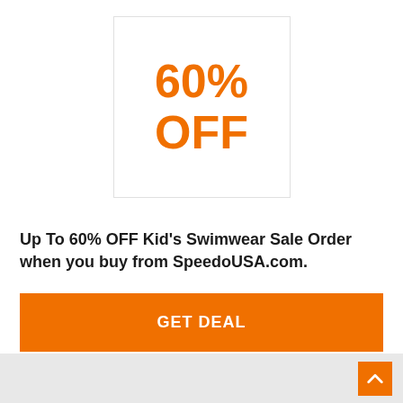[Figure (infographic): Box with orange bold text '60% OFF' centered inside a white bordered square]
Up To 60% OFF Kid's Swimwear Sale Order when you buy from SpeedoUSA.com.
GET DEAL